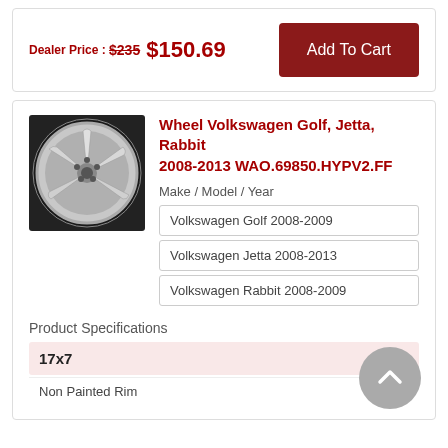Dealer Price : $235   $150.69
Add To Cart
Wheel Volkswagen Golf, Jetta, Rabbit 2008-2013 WAO.69850.HYPV2.FF
Make / Model / Year
Volkswagen Golf 2008-2009
Volkswagen Jetta 2008-2013
Volkswagen Rabbit 2008-2009
Product Specifications
17x7
Non Painted Rim